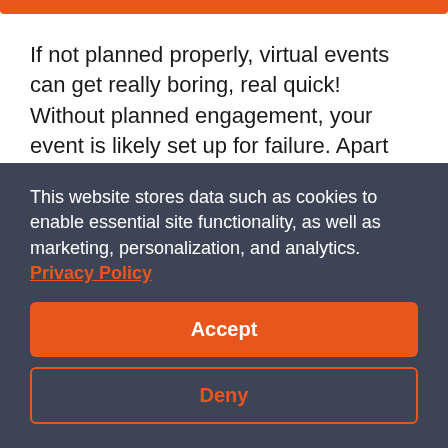If not planned properly, virtual events can get really boring, real quick! Without planned engagement, your event is likely set up for failure. Apart from giving your event the feel of a physical environment, there are other ways to keep attendees present. Enter virtual event games! Virtual event games are a great way to bring people together in friendly competition from all over the world.
This website stores data such as cookies to enable essential site functionality, as well as marketing, personalization, and analytics. Privacy Policy
Accept
Deny